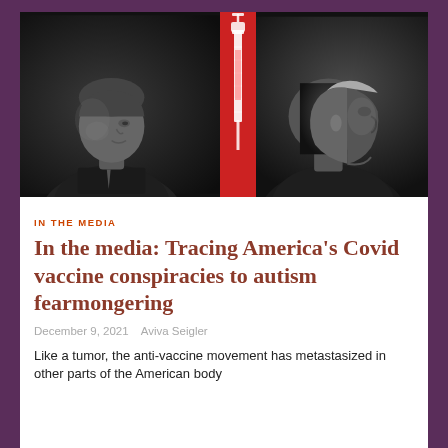[Figure (photo): Black and white composite photo of two men facing each other with a red syringe graphic in the center dividing the image.]
IN THE MEDIA
In the media: Tracing America's Covid vaccine conspiracies to autism fearmongering
December 9, 2021   Aviva Seigler
Like a tumor, the anti-vaccine movement has metastasized in other parts of the American body